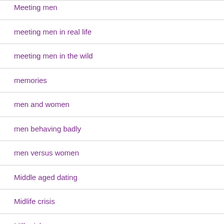Meeting men
meeting men in real life
meeting men in the wild
memories
men and women
men behaving badly
men versus women
Middle aged dating
Midlife crisis
Millenials
Million Mile Guarantee